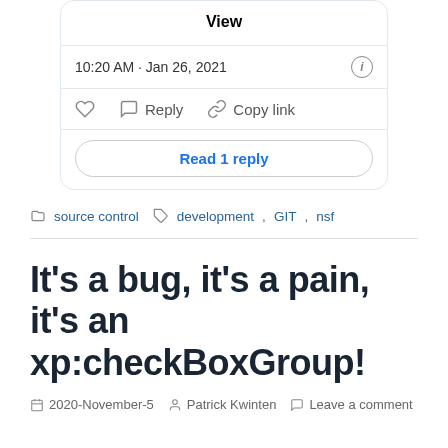[Figure (screenshot): Twitter/social media embed card showing a 'View' button, timestamp '10:20 AM · Jan 26, 2021', info icon, like/reply/copy-link actions, and 'Read 1 reply' button]
source control   development, GIT, nsf
It's a bug, it's a pain, it's an xp:checkBoxGroup!
2020-November-5   Patrick Kwinten   Leave a comment